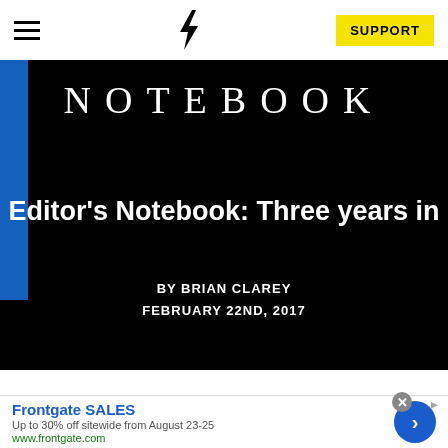SUPPORT
[Figure (screenshot): Website header with hamburger menu icon on left, lightning bolt logo in center, and yellow SUPPORT button on right]
[Figure (screenshot): Black hero banner with blue left accent bar and NOTEBOOK text in large serif letters]
Editor's Notebook: Three years in
BY BRIAN CLAREY
FEBRUARY 22ND, 2017
[Figure (screenshot): Advertisement banner: Frontgate SALES - Up to 30% off sitewide from August 23-25. www.frontgate.com. Blue circular arrow button on right. Close X button top right.]